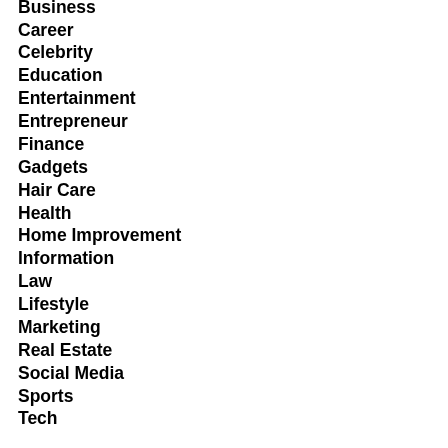Business
Career
Celebrity
Education
Entertainment
Entrepreneur
Finance
Gadgets
Hair Care
Health
Home Improvement
Information
Law
Lifestyle
Marketing
Real Estate
Social Media
Sports
Tech